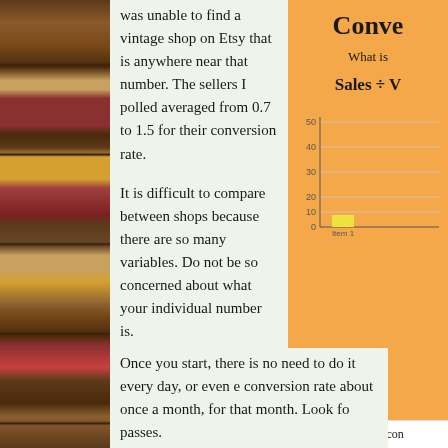[Figure (photo): Bookshelf with colorful books on the left side of the page]
was unable to find a vintage shop on Etsy that is anywhere near that number. The sellers I polled averaged from 0.7 to 1.5 for their conversion rate.
It is difficult to compare between shops because there are so many variables. Do not be so concerned about what your individual number is.
The best thing to do is to know what your conversion rate is and keep track of it. New shops should begin tracking this number at about three months of sales.
Conve
What is
[Figure (bar-chart): How has your conversion rate changed]
How has your con
Once you start, there is no need to do it every day, or even e conversion rate about once a month, for that month. Look fo passes.